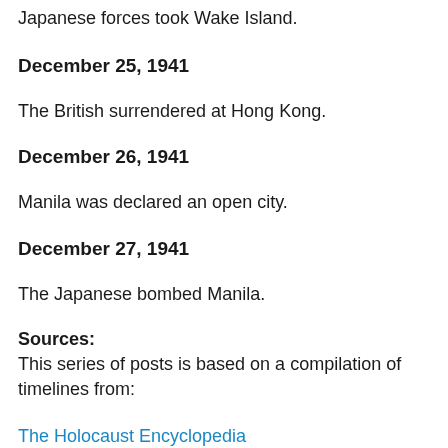Japanese forces took Wake Island.
December 25, 1941
The British surrendered at Hong Kong.
December 26, 1941
Manila was declared an open city.
December 27, 1941
The Japanese bombed Manila.
Sources:
This series of posts is based on a compilation of timelines from:
The Holocaust Encyclopedia